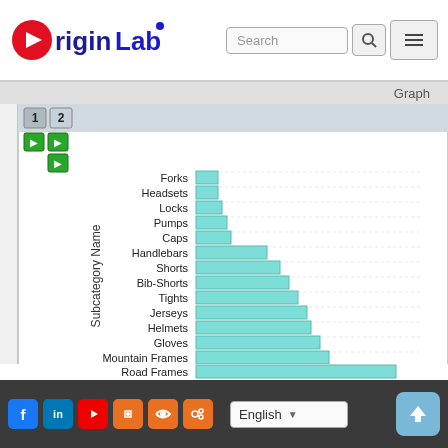[Figure (screenshot): OriginLab website header with logo, search bar, and menu button]
[Figure (bar-chart): Subcategory Name vs Value]
Social icons, English language selector, upload button